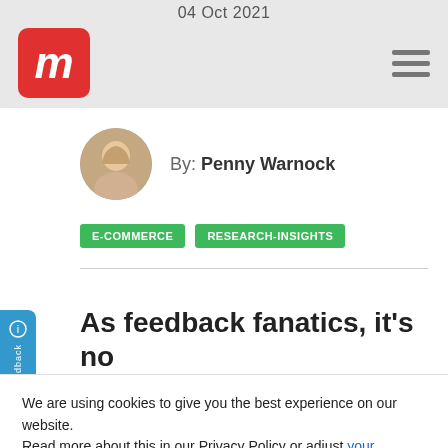04 Oct 2021
[Figure (logo): Red rounded square logo with white italic letter m]
By: Penny Warnock
E-COMMERCE   RESEARCH-INSIGHTS
As feedback fanatics, it's no
We are using cookies to give you the best experience on our website.
Read more about this in our Privacy Policy or adjust your settings.
Accept